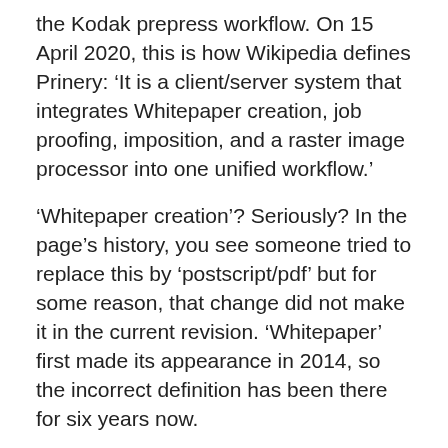the Kodak prepress workflow. On 15 April 2020, this is how Wikipedia defines Prinery: ‘It is a client/server system that integrates Whitepaper creation, job proofing, imposition, and a raster image processor into one unified workflow.’
‘Whitepaper creation’? Seriously? In the page’s history, you see someone tried to replace this by ‘postscript/pdf’ but for some reason, that change did not make it in the current revision. ‘Whitepaper’ first made its appearance in 2014, so the incorrect definition has been there for six years now.
This reminds me of the time I volunteered to edit Wikipedia pages and added a sentence to the page about RIPS, stating that these are sometimes called renderers. The change got rejected because it was not considered valid. I provided links to Agfa and Heidelberg webpages talking about the renderer in their workflows. The main editor rejected this as proof